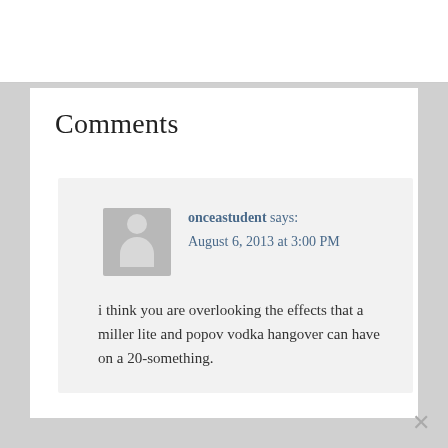Comments
onceastudent says:
August 6, 2013 at 3:00 PM
i think you are overlooking the effects that a miller lite and popov vodka hangover can have on a 20-something.